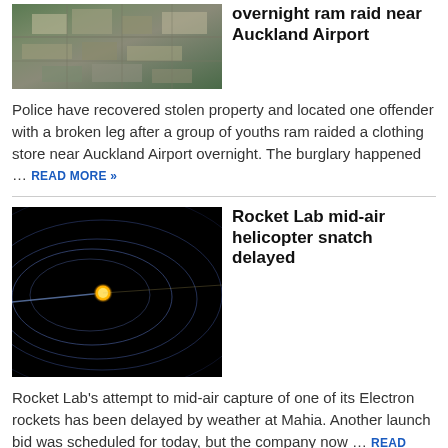overnight ram raid near Auckland Airport
[Figure (photo): Aerial satellite view of a suburban area near Auckland Airport showing buildings and roads]
Police have recovered stolen property and located one offender with a broken leg after a group of youths ram raided a clothing store near Auckland Airport overnight. The burglary happened … READ MORE »
Rocket Lab mid-air helicopter snatch delayed
[Figure (photo): Dark image showing glowing rocket trail arcs on black background representing Rocket Lab Electron rocket trajectory]
Rocket Lab's attempt to mid-air capture of one of its Electron rockets has been delayed by weather at Mahia. Another launch bid was scheduled for today, but the company now … READ MORE »